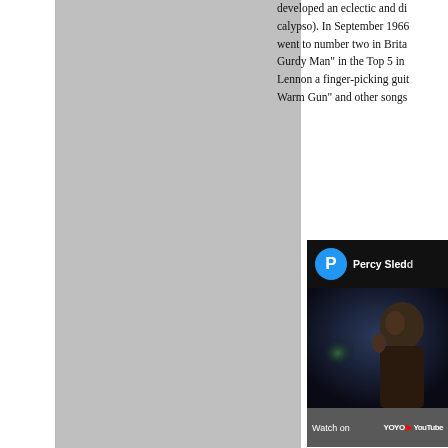[Figure (photo): Large gray rectangular area occupying the left and center portion of the page, representing an image placeholder or partially loaded image.]
developed an eclectic and di... calypso). In September 1966... went to number two in Brita... Gurdy Man" in the Top 5 in... Lennon a finger-picking guit... Warm Gun" and other songs...
[Figure (screenshot): YouTube video thumbnail showing a person's face in dark lighting with the YouTube channel avatar (blue circle with letter P) and channel name 'Percy Sledd...' at the top. Bottom bar shows 'Watch on YouTube' with YOYO branding.]